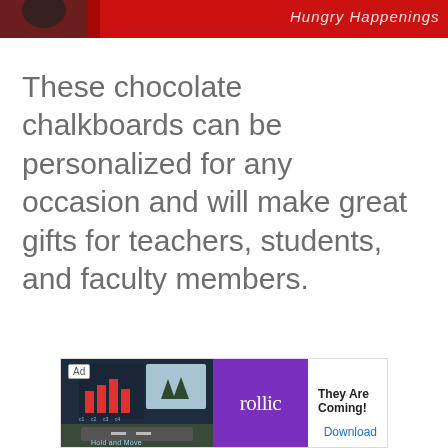[Figure (photo): Partial view of a red banner/header image with text 'Hungry Happenings' partially visible on the right side]
These chocolate chalkboards can be personalized for any occasion and will make great gifts for teachers, students, and faculty members.
[Figure (screenshot): Advertisement banner: left section shows a mobile game screenshot with bar charts and snowy scenery; middle section shows purple background with 'rollic' logo text; right section shows 'They Are Coming!' tagline with 'Download' link. Labeled 'Ad' in top left corner.]